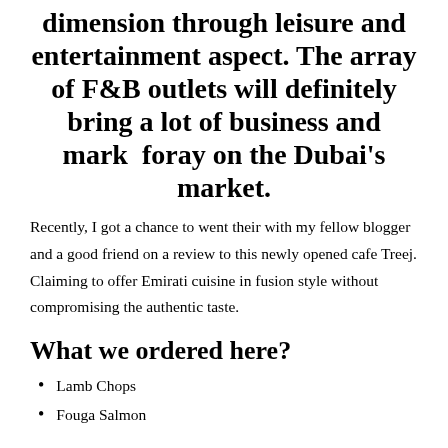dimension through leisure and entertainment aspect. The array of F&B outlets will definitely bring a lot of business and mark  foray on the Dubai's market.
Recently, I got a chance to went their with my fellow blogger and a good friend on a review to this newly opened cafe Treej. Claiming to offer Emirati cuisine in fusion style without compromising the authentic taste.
What we ordered here?
Lamb Chops
Fouga Salmon